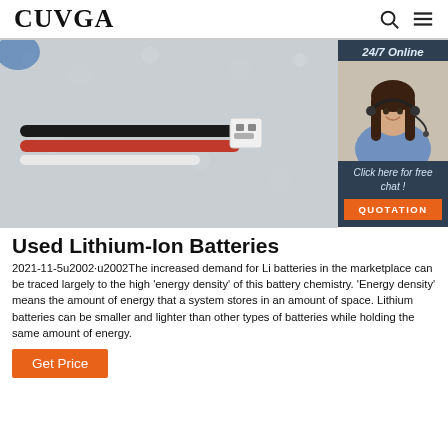CUVGA
[Figure (photo): Close-up photo of a battery connector with black and red wires on a foam background]
[Figure (photo): 24/7 Online chat sidebar with a female customer service agent wearing a headset. Text: '24/7 Online', 'Click here for free chat!', 'QUOTATION' button]
Used Lithium-Ion Batteries
2021-11-5u2002·u2002The increased demand for Li batteries in the marketplace can be traced largely to the high 'energy density' of this battery chemistry. 'Energy density' means the amount of energy that a system stores in an amount of space. Lithium batteries can be smaller and lighter than other types of batteries while holding the same amount of energy.
Get Price